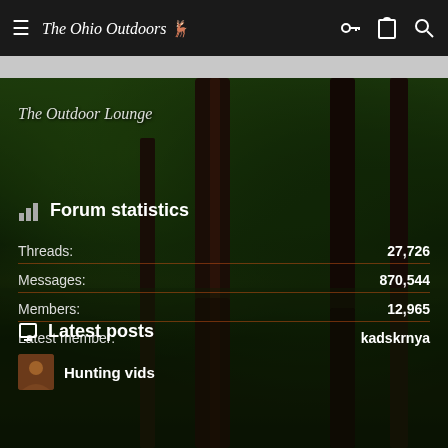The Ohio Outdoors
The Outdoor Lounge
Forum statistics
| Label | Value |
| --- | --- |
| Threads: | 27,726 |
| Messages: | 870,544 |
| Members: | 12,965 |
| Latest member: | kadskrnya |
Latest posts
Hunting vids